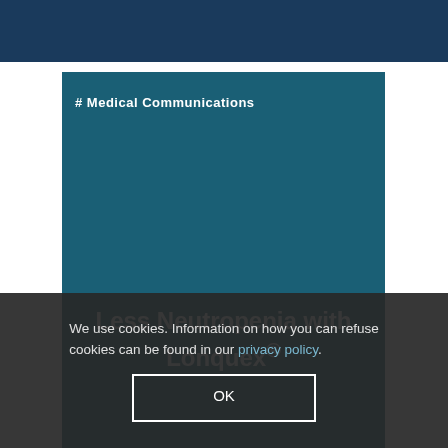[Figure (other): Dark navy blue top banner bar]
# Medical Communications
Less Neutropenia with Lonquex®
We use cookies. Information on how you can refuse cookies can be found in our privacy policy.
OK